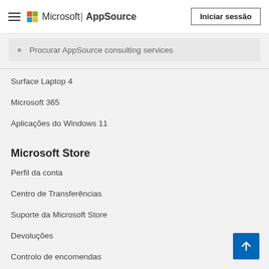Microsoft | AppSource — Iniciar sessão
Procurar AppSource consulting services
Surface Laptop 4
Microsoft 365
Aplicações do Windows 11
Microsoft Store
Perfil da conta
Centro de Transferências
Suporte da Microsoft Store
Devoluções
Controlo de encomendas
Reciclagem